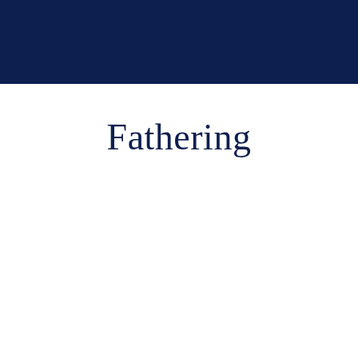[Figure (other): Dark navy blue header bar spanning the full width of the page at the top]
Fathering